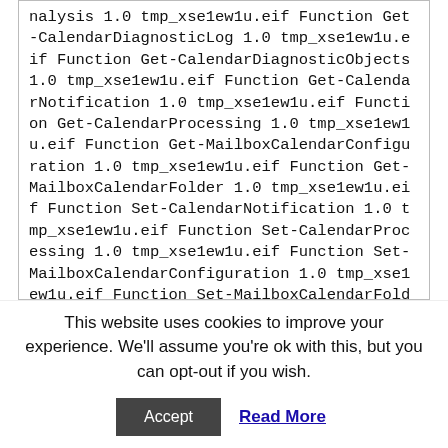nalysis 1.0 tmp_xse1ew1u.eif Function Get-CalendarDiagnosticLog 1.0 tmp_xse1ew1u.eif Function Get-CalendarDiagnosticObjects 1.0 tmp_xse1ew1u.eif Function Get-CalendarNotification 1.0 tmp_xse1ew1u.eif Function Get-CalendarProcessing 1.0 tmp_xse1ew1u.eif Function Get-MailboxCalendarConfiguration 1.0 tmp_xse1ew1u.eif Function Get-MailboxCalendarFolder 1.0 tmp_xse1ew1u.eif Function Set-CalendarNotification 1.0 tmp_xse1ew1u.eif Function Set-CalendarProcessing 1.0 tmp_xse1ew1u.eif Function Set-MailboxCalendarConfiguration 1.0 tmp_xse1ew1u.eif Function Set-MailboxCalendarFolder 1.0 tmp_xse1ew1u.eif
This website uses cookies to improve your experience. We'll assume you're ok with this, but you can opt-out if you wish.